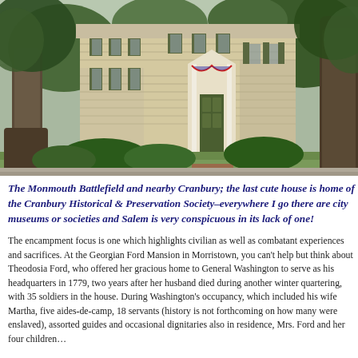[Figure (photo): Exterior photograph of a historic two-story yellow clapboard house with dark green shutters and a white columned entrance portico. Large trees flank either side. Green bushes and a brick walkway lead to the front steps. The house appears to be a historical society or museum building.]
The Monmouth Battlefield and nearby Cranbury; the last cute house is home of the Cranbury Historical & Preservation Society–everywhere I go there are city museums or societies and Salem is very conspicuous in its lack of one!
The encampment focus is one which highlights civilian as well as combatant experiences and sacrifices. At the Georgian Ford Mansion in Morristown, you can't help but think about Theodosia Ford, who offered her gracious home to General Washington to serve as his headquarters in 1779, two years after her husband died, during another winter quartering, with 35 soldiers in the house. During Washington's occupancy, which included his wife Martha, five aides-de-camp, 18 servants (history is not forthcoming on how many were enslaved), assorted guides and occasional dignitaries also in residence, Mrs. Ford and her four children...